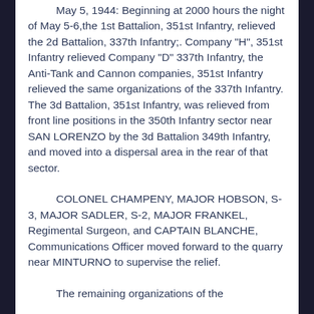May 5, 1944: Beginning at 2000 hours the night of May 5-6, the 1st Battalion, 351st Infantry, relieved the 2d Battalion, 337th Infantry;. Company "H", 351st Infantry relieved Company "D" 337th Infantry, the Anti-Tank and Cannon companies, 351st Infantry relieved the same organizations of the 337th Infantry. The 3d Battalion, 351st Infantry, was relieved from front line positions in the 350th Infantry sector near SAN LORENZO by the 3d Battalion 349th Infantry, and moved into a dispersal area in the rear of that sector.
COLONEL CHAMPENY, MAJOR HOBSON, S-3, MAJOR SADLER, S-2, MAJOR FRANKEL, Regimental Surgeon, and CAPTAIN BLANCHE, Communications Officer moved forward to the quarry near MINTURNO to supervise the relief.
The remaining organizations of the